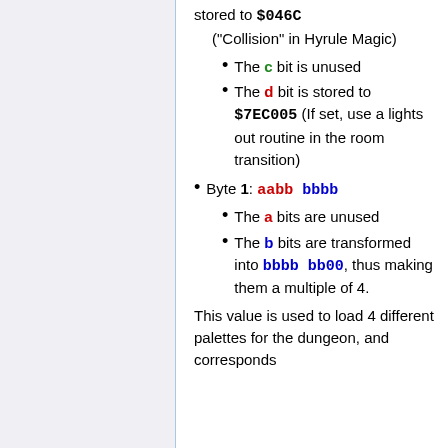stored to $046C ("Collision" in Hyrule Magic)
The c bit is unused
The d bit is stored to $7EC005 (If set, use a lights out routine in the room transition)
Byte 1: aabb bbbb
The a bits are unused
The b bits are transformed into bbbb bb00, thus making them a multiple of 4.
This value is used to load 4 different palettes for the dungeon, and corresponds